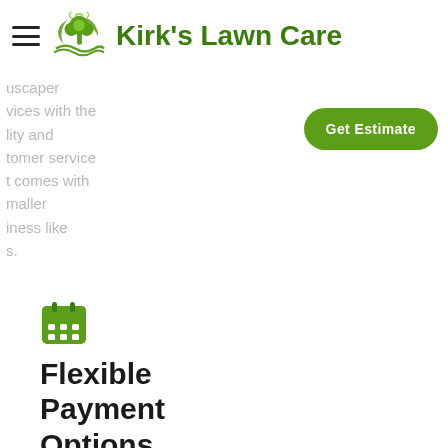Kirk's Lawn Care
uscaper
vices with the
lity and
tomer service
t comes with
maller
iness like
s.
Get Estimate
Flexible Payment Options
We offer pre-pay incentives on our fertilizing and weed control services for